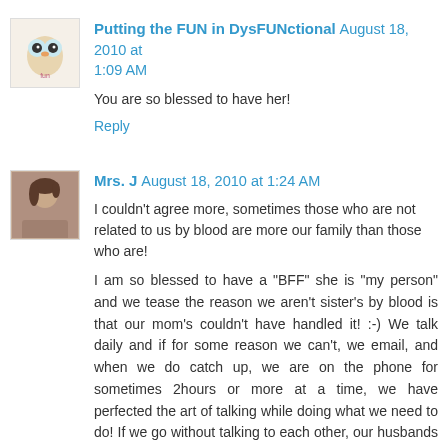Putting the FUN in DysFUNctional August 18, 2010 at 1:09 AM
You are so blessed to have her!
Reply
Mrs. J August 18, 2010 at 1:24 AM
I couldn't agree more, sometimes those who are not related to us by blood are more our family than those who are!
I am so blessed to have a "BFF" she is "my person" and we tease the reason we aren't sister's by blood is that our mom's couldn't have handled it! :-) We talk daily and if for some reason we can't, we email, and when we do catch up, we are on the phone for sometimes 2hours or more at a time, we have perfected the art of talking while doing what we need to do! If we go without talking to each other, our husbands notice and ask us to please call each other:) She is more my sister than my own...she knows me better than I